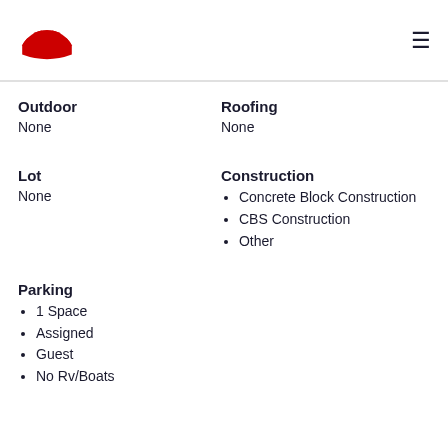[Figure (logo): Red and white Maltese cross / star-shaped insurance company logo]
Outdoor
None
Roofing
None
Lot
None
Construction
Concrete Block Construction
CBS Construction
Other
Parking
1 Space
Assigned
Guest
No Rv/Boats